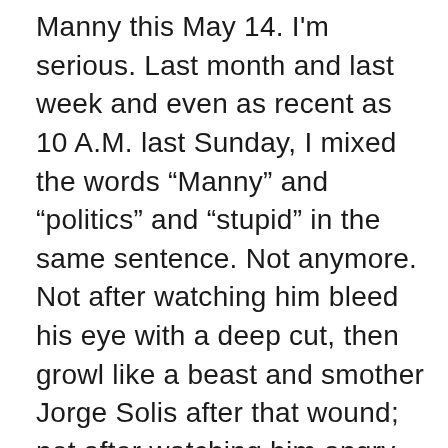Manny this May 14. I'm serious. Last month and last week and even as recent as 10 A.M. last Sunday, I mixed the words “Manny” and “politics” and “stupid” in the same sentence. Not anymore. Not after watching him bleed his eye with a deep cut, then growl like a beast and smother Jorge Solis after that wound; not after watching him angry on that sixth, seventh, and eighth rounds when he unleashed left hook after uppercut after right hook and floored Solis to oblivion.